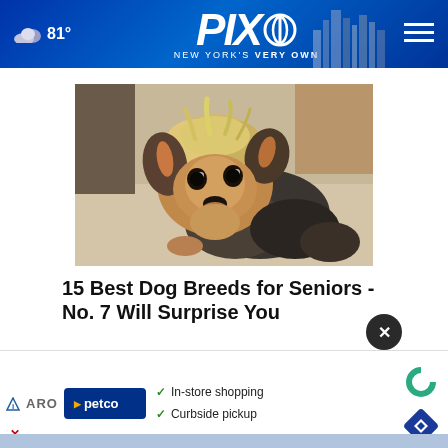☁ 81° | PIX 11 NEW YORK'S VERY OWN
[Figure (photo): Photo of a small Yorkshire Terrier dog with fluffy tan and dark fur lying on a carpet, looking at the camera]
15 Best Dog Breeds for Seniors - No. 7 Will Surprise You
[Figure (screenshot): Petco advertisement banner showing checkmarks for In-store shopping and Curbside pickup, with a close button (X), Petco logo, and navigation arrow icon]